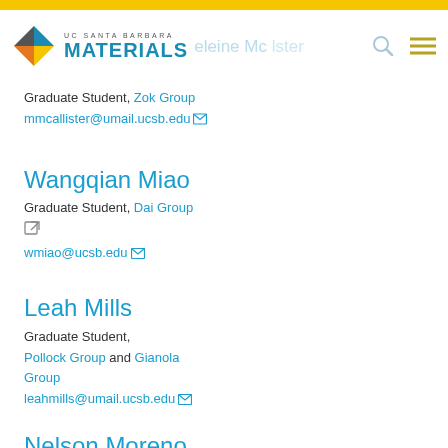UC Santa Barbara Materials — navigation header
Madeleine McAllister
Graduate Student, Zok Group
mmcallister@umail.ucsb.edu
Wangqian Miao
Graduate Student, Dai Group
wmiao@ucsb.edu
Leah Mills
Graduate Student, Pollock Group and Gianola Group
leahmills@umail.ucsb.edu
Nelson Moreno
Graduate Student, Seshadri